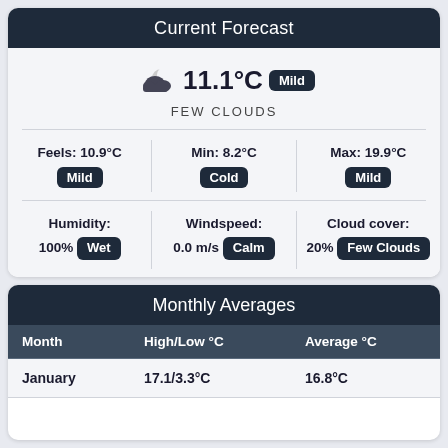Current Forecast
11.1°C Mild
FEW CLOUDS
Feels: 10.9°C Mild
Min: 8.2°C Cold
Max: 19.9°C Mild
Humidity: 100% Wet
Windspeed: 0.0 m/s Calm
Cloud cover: 20% Few Clouds
Monthly Averages
| Month | High/Low °C | Average °C |
| --- | --- | --- |
| January | 17.1/3.3°C | 16.8°C |